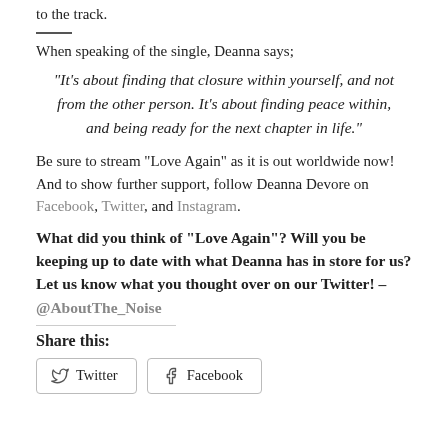to the track.
When speaking of the single, Deanna says;
“It’s about finding that closure within yourself, and not from the other person. It’s about finding peace within, and being ready for the next chapter in life.”
Be sure to stream “Love Again” as it is out worldwide now! And to show further support, follow Deanna Devore on Facebook, Twitter, and Instagram.
What did you think of “Love Again”? Will you be keeping up to date with what Deanna has in store for us? Let us know what you thought over on our Twitter! – @AboutThe_Noise
Share this:
Twitter
Facebook